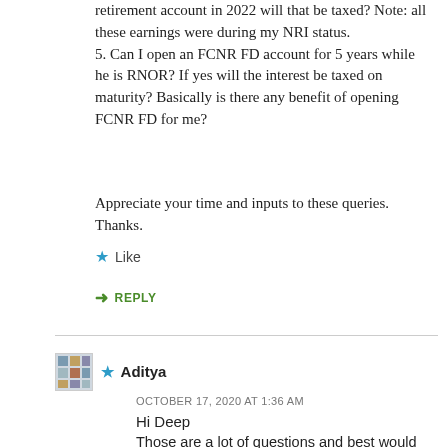retirement account in 2022 will that be taxed? Note: all these earnings were during my NRI status.
5. Can I open an FCNR FD account for 5 years while he is RNOR? If yes will the interest be taxed on maturity? Basically is there any benefit of opening FCNR FD for me?
Appreciate your time and inputs to these queries. Thanks.
★ Like
↳ REPLY
★ Aditya
OCTOBER 17, 2020 AT 1:36 AM
Hi Deep
Those are a lot of questions and best would be to engage a chartered accountant to help you take